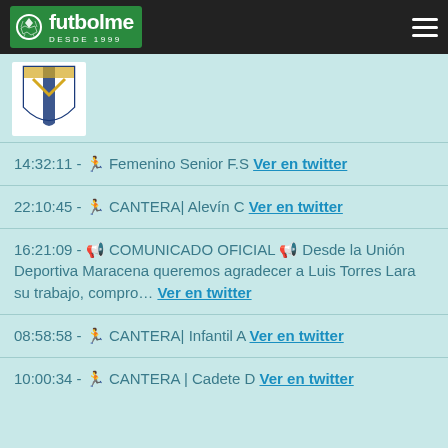futbolme DESDE 1999
[Figure (logo): Partial team crest/shield logo in blue and gold on white background]
14:32:11 - 🏃 Femenino Senior F.S Ver en twitter
22:10:45 - 🏃 CANTERA| Alevín C Ver en twitter
16:21:09 - 📢 COMUNICADO OFICIAL 📢 Desde la Unión Deportiva Maracena queremos agradecer a Luis Torres Lara su trabajo, compro… Ver en twitter
08:58:58 - 🏃 CANTERA| Infantil A Ver en twitter
10:00:34 - 🏃 CANTERA | Cadete D Ver en twitter